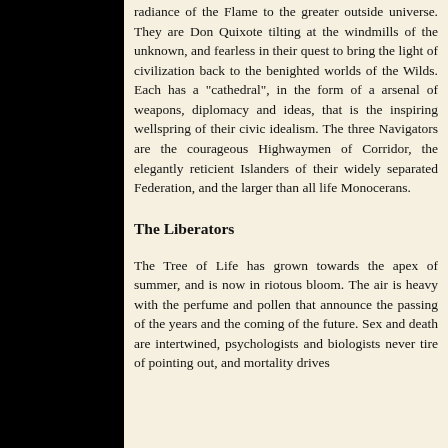radiance of the Flame to the greater outside universe. They are Don Quixote tilting at the windmills of the unknown, and fearless in their quest to bring the light of civilization back to the benighted worlds of the Wilds. Each has a "cathedral", in the form of a arsenal of weapons, diplomacy and ideas, that is the inspiring wellspring of their civic idealism. The three Navigators are the courageous Highwaymen of Corridor, the elegantly reticient Islanders of their widely separated Federation, and the larger than all life Monocerans.
The Liberators
The Tree of Life has grown towards the apex of summer, and is now in riotous bloom. The air is heavy with the perfume and pollen that announce the passing of the years and the coming of the future. Sex and death are intertwined, psychologists and biologists never tire of pointing out, and mortality drives